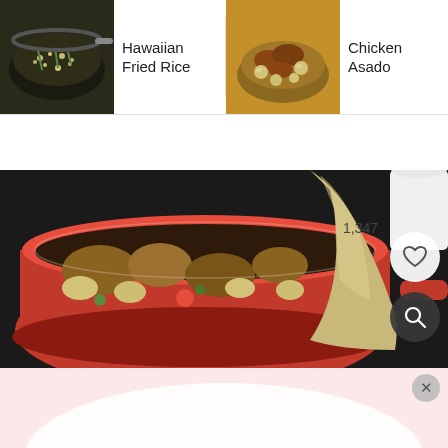[Figure (screenshot): Top navigation bar showing three recipe thumbnails: Hawaiian Fried Rice (fried rice in wok), Chicken Asado (chicken dish with potatoes), and Crispy Chicken Livers la Bistek (partially visible, meat with onions). Navigation arrow between Chicken Asado and Crispy Chicken Livers.]
[Figure (photo): Main food photo showing a red dutch oven/pan with chicken asado dish (chicken pieces with potatoes and vegetables) and a hand pouring liquid/sauce from a beige pitcher. A red handle of another pot is visible on the right. The image has a heart button (1,347 likes) and a search/magnify button overlaid in the bottom right.]
[Figure (photo): Partially visible bottom section showing a pink/light red background, possibly another food image (white plate visible), with an X/close button in the top right corner.]